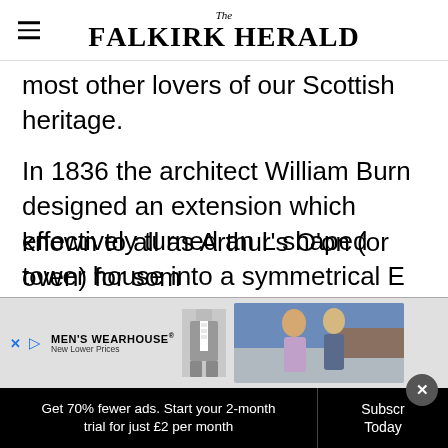The Falkirk Herald
most other lovers of our Scottish heritage.
In 1836 the architect William Burn designed an extension which effectively turned an L shaped tower house into a symmetrical E shape which it remained for the next century.
The name "Stenhouse", which gave rise to the name of the village, is itself an echo from the distant past — the "stane house" known to all as Arthur's O'on (or oven) for som
[Figure (screenshot): Men's Wearhouse advertisement overlay with suit image and couple photo]
Get 70% fewer ads. Start your 2-month trial for just £2 per month
Subscribe Today